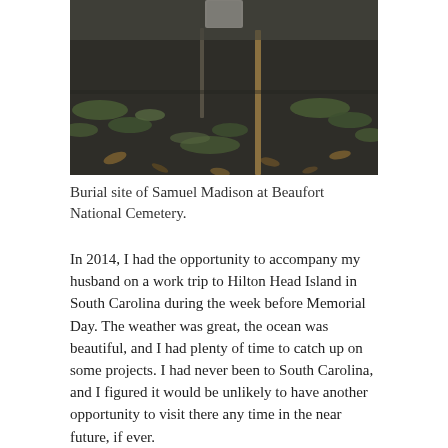[Figure (photo): Photograph of a burial site at Beaufort National Cemetery, showing a small grave marker/stake in dark soil with grass and fallen leaves around it.]
Burial site of Samuel Madison at Beaufort National Cemetery.
In 2014, I had the opportunity to accompany my husband on a work trip to Hilton Head Island in South Carolina during the week before Memorial Day. The weather was great, the ocean was beautiful, and I had plenty of time to catch up on some projects. I had never been to South Carolina, and I figured it would be unlikely to have another opportunity to visit there any time in the near future, if ever.